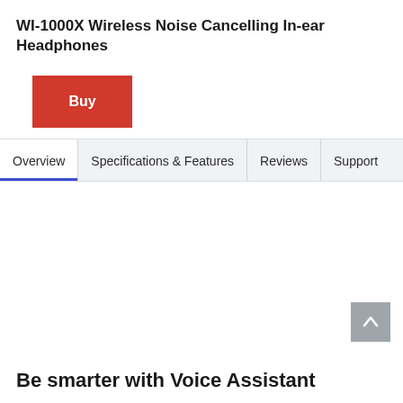WI-1000X Wireless Noise Cancelling In-ear Headphones
Buy
Overview  Specifications & Features  Reviews  Support
Be smarter with Voice Assistant